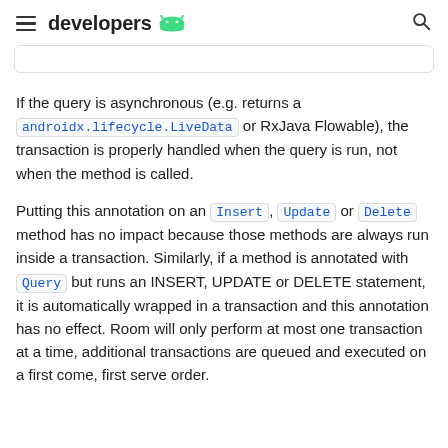developers
If the query is asynchronous (e.g. returns a androidx.lifecycle.LiveData or RxJava Flowable), the transaction is properly handled when the query is run, not when the method is called.
Putting this annotation on an Insert, Update or Delete method has no impact because those methods are always run inside a transaction. Similarly, if a method is annotated with Query but runs an INSERT, UPDATE or DELETE statement, it is automatically wrapped in a transaction and this annotation has no effect. Room will only perform at most one transaction at a time, additional transactions are queued and executed on a first come, first serve order.